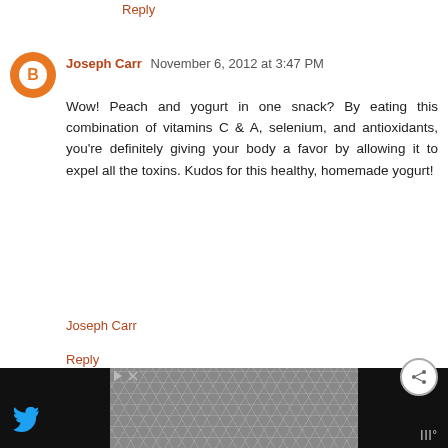Reply
Joseph Carr November 6, 2012 at 3:47 PM
Wow! Peach and yogurt in one snack? By eating this combination of vitamins C & A, selenium, and antioxidants, you're definitely giving your body a favor by allowing it to expel all the toxins. Kudos for this healthy, homemade yogurt!
Joseph Carr
Reply
fish steak restaurant June 5, 2020 at 6:07 AM
simply says, Amazing recipee.
Reply